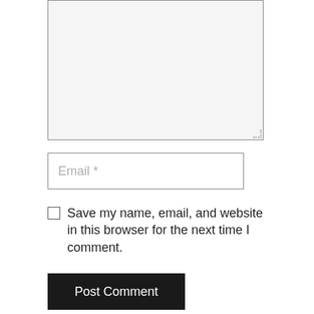[Figure (screenshot): A comment form textarea (large empty input box with light grey background and resize handle at bottom-right corner)]
Email *
Save my name, email, and website in this browser for the next time I comment.
Post Comment